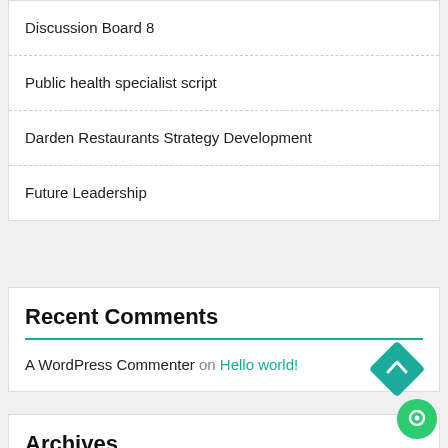Discussion Board 8
Public health specialist script
Darden Restaurants Strategy Development
Future Leadership
Recent Comments
A WordPress Commenter on Hello world!
Archives